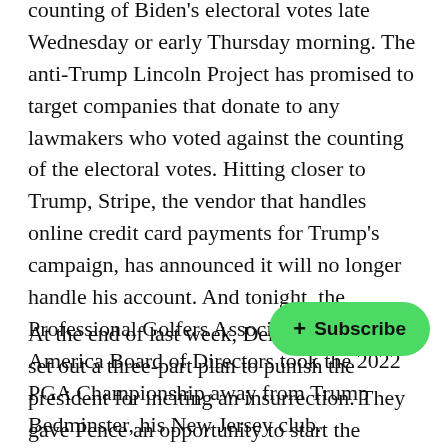their donations to lawmakers who voted against the counting of Biden's electoral votes late Wednesday or early Thursday morning. The anti-Trump Lincoln Project has promised to target companies that donate to any lawmakers who voted against the counting of the electoral votes. Hitting closer to Trump, Stripe, the vendor that handles online credit card payments for Trump's campaign, has announced it will no longer handle his account. And tonight, the Professional Golfers Association of America Board of Directors took the 2022 PGA Championship away from Trump Bedminster, his New Jersey club.
At the end of last week, Democratic leaders set out a three-part plan to punish the president for inciting an insurrection. They gave Pence an opportunity to start the process of invoking the 25th Amendment, considering the president had tried to get him killed